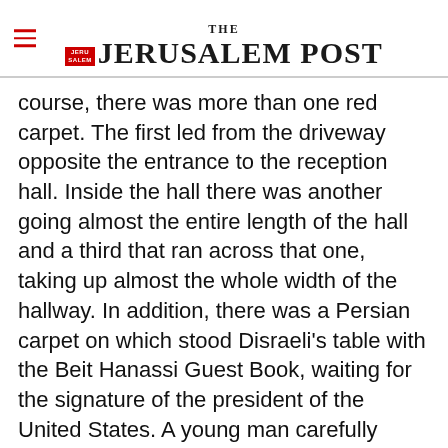THE JERUSALEM POST
course, there was more than one red carpet. The first led from the driveway opposite the entrance to the reception hall. Inside the hall there was another going almost the entire length of the hall and a third that ran across that one, taking up almost the whole width of the hallway. In addition, there was a Persian carpet on which stood Disraeli's table with the Beit Hanassi Guest Book, waiting for the signature of the president of the United States. A young man carefully
Advertisement